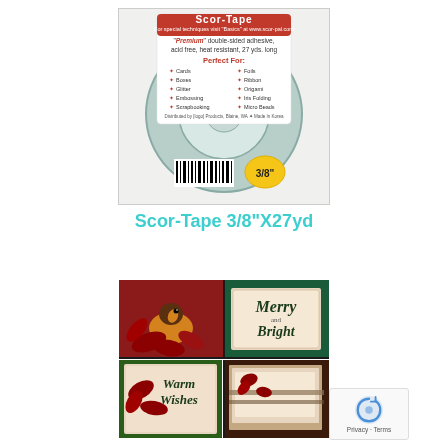[Figure (photo): Scor-Tape 3/8 inch x 27 yard product in plastic packaging, showing a roll of double-sided adhesive tape with product label listing uses such as cards, boxes, glitter, embossing, scrapbooking, foils, ribbon, origami, iris folding, micro beads. Barcode visible with yellow 3/8 inch label.]
Scor-Tape 3/8"X27yd
[Figure (photo): Collage of Christmas-themed handmade cards featuring poinsettias, a robin bird, and text saying 'Merry and Bright' and 'Warm Wishes', with decorative scrapbooking embellishments.]